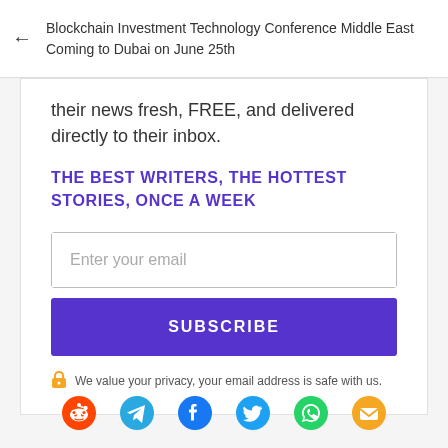Blockchain Investment Technology Conference Middle East Coming to Dubai on June 25th
their news fresh, FREE, and delivered directly to their inbox.
THE BEST WRITERS, THE HOTTEST STORIES, ONCE A WEEK
Enter your email
SUBSCRIBE
We value your privacy, your email address is safe with us.
[Figure (infographic): Row of social sharing icons: Reddit (red), Telegram (blue), Facebook (dark blue), Twitter (light blue), WhatsApp (green), Email (orange)]